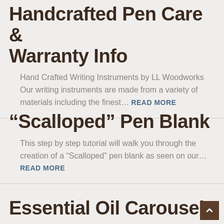Handcrafted Pen Care & Warranty Info
Hand Crafted Writing Instruments by LL Woodworks Our writing instruments are made from a variety of materials including the finest… READ MORE
“Scalloped” Pen Blank
This step by step tutorial will walk you through the creation of a “Scalloped” pen blank as seen on our… READ MORE
Essential Oil Carousel